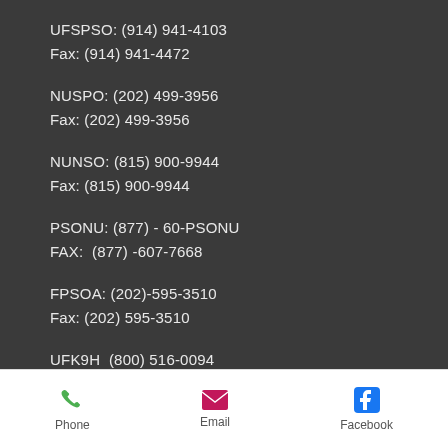UFSPSO: (914) 941-4103
Fax: (914) 941-4472
NUSPO: (202) 499-3956
Fax: (202) 499-3956
NUNSO: (815) 900-9944
Fax: (815) 900-9944
PSONU: (877) - 60-PSONU
FAX:  (877) -607-7668
FPSOA: (202)-595-3510
Fax: (202) 595-3510
UFK9H  (800) 516-0094
Email
Phone | Email | Facebook